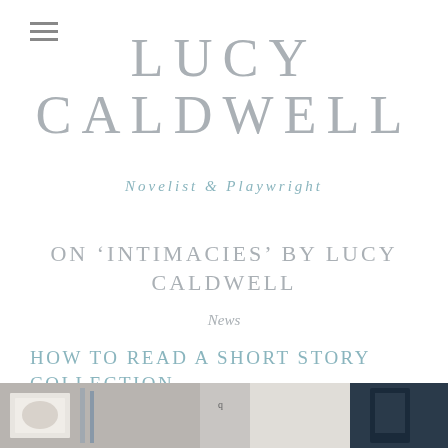[Figure (other): Hamburger menu icon (three horizontal lines)]
LUCY CALDWELL
Novelist & Playwright
ON 'INTIMACIES' BY LUCY CALDWELL
News
HOW TO READ A SHORT STORY COLLECTION
(Tiny Camels / Jonathan Gibbs)
[Figure (photo): Partial photo of books/photographs on a surface, cropped at bottom of page]